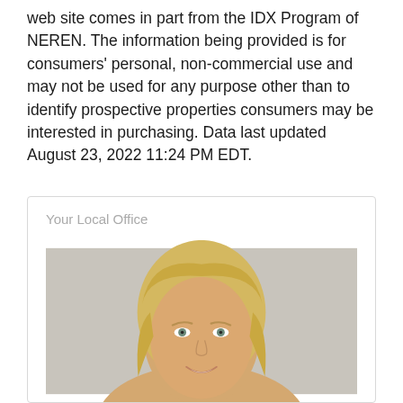web site comes in part from the IDX Program of NEREN. The information being provided is for consumers' personal, non-commercial use and may not be used for any purpose other than to identify prospective properties consumers may be interested in purchasing. Data last updated August 23, 2022 11:24 PM EDT.
Your Local Office
[Figure (photo): Headshot of a blonde woman smiling, photographed against a light gray background. The photo is cropped at approximately shoulder level.]